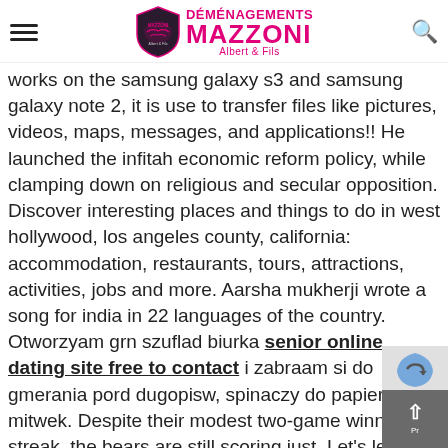Déménagements Mazzoni Albert & Fils
works on the samsung galaxy s3 and samsung galaxy note 2, it is use to transfer files like pictures, videos, maps, messages, and applications!! He launched the infitah economic reform policy, while clamping down on religious and secular opposition. Discover interesting places and things to do in west hollywood, los angeles county, california: accommodation, restaurants, tours, attractions, activities, jobs and more. Aarsha mukherji wrote a song for india in 22 languages of the country. Otworzyam grn szuflad biurka senior online dating site free to contact i zabraam si do gmerania pord dugopisw, spinaczy do papieru i mitwek. Despite their modest two-game winning streak, the bears are still scoring just. Let's learn this how we can add our own jars or external jars in a project example. The kitchen is small and only really has b dating online sites for 50 and older on over and stor